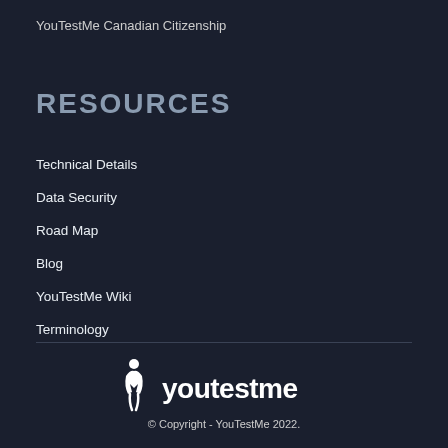YouTestMe Canadian Citizenship
RESOURCES
Technical Details
Data Security
Road Map
Blog
YouTestMe Wiki
Terminology
[Figure (logo): YouTestMe logo with stylized person icon and 'youtestme' text in white on dark background]
© Copyright - YouTestMe 2022.